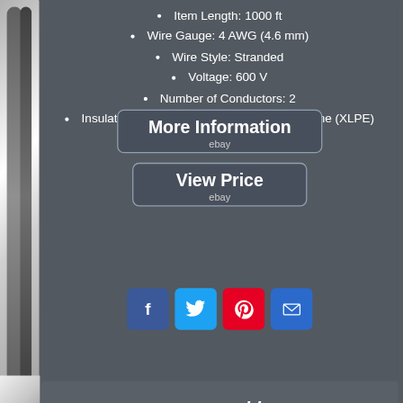Item Length: 1000 ft
Wire Gauge: 4 AWG (4.6 mm)
Wire Style: Stranded
Voltage: 600 V
Number of Conductors: 2
Insulation Material: Cross-Linked Polyethylene (XLPE)
[Figure (screenshot): More Information button with eBay branding]
[Figure (screenshot): View Price button with eBay branding]
[Figure (infographic): Social sharing icons: Facebook, Twitter, Pinterest, Email]
[Figure (photo): Bottom section showing cable product image with text 'with ground cable uf-b']